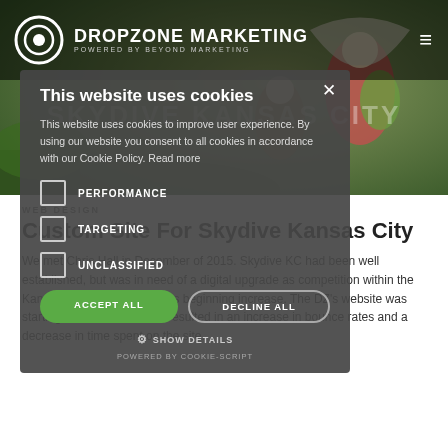DROPZONE MARKETING POWERED BY BEYOND MARKETING
[Figure (screenshot): Hero background image showing skydivers with parachutes, and watermark text 'SKYDIVE KANSAS CITY']
This website uses cookies
This website uses cookies to improve user experience. By using our website you consent to all cookies in accordance with our Cookie Policy. Read more
PERFORMANCE
TARGETING
UNCLASSIFIED
ACCEPT ALL
DECLINE ALL
SHOW DETAILS
POWERED BY COOKIE-SCRIPT
WEB DESIGN
Custom Site For Skydive Kansas City
We met Chris Hall in December of 2015. Skydive KC had been well established, but was in need of a digital upgrade as competition within the Kansas City marketplace was beginning increase. The DZ's website was starting to feel dated which resulted in an increase in bounce rates and a decrease in time spent on the site.